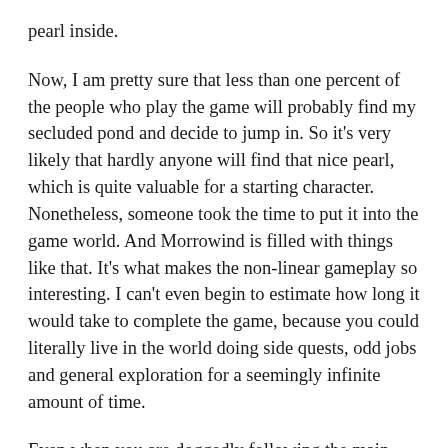pearl inside.
Now, I am pretty sure that less than one percent of the people who play the game will probably find my secluded pond and decide to jump in. So it's very likely that hardly anyone will find that nice pearl, which is quite valuable for a starting character. Nonetheless, someone took the time to put it into the game world. And Morrowind is filled with things like that. It's what makes the non-linear gameplay so interesting. I can't even begin to estimate how long it would take to complete the game, because you could literally live in the world doing side quests, odd jobs and general exploration for a seemingly infinite amount of time.
Even when you are doggedly following the main quest, the game tries to steer you to explore new areas outside of the main plot. Your first real mission once you meet your plot-following contact is to go out in the world, join some guilds, get some better equipment and come back when you are more